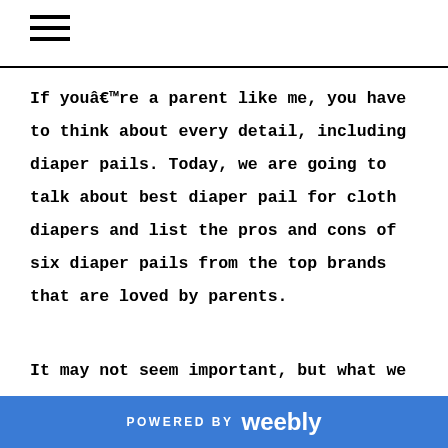If youâre a parent like me, you have to think about every detail, including diaper pails. Today, we are going to talk about best diaper pail for cloth diapers and list the pros and cons of six diaper pails from the top brands that are loved by parents.
It may not seem important, but what we
POWERED BY weebly